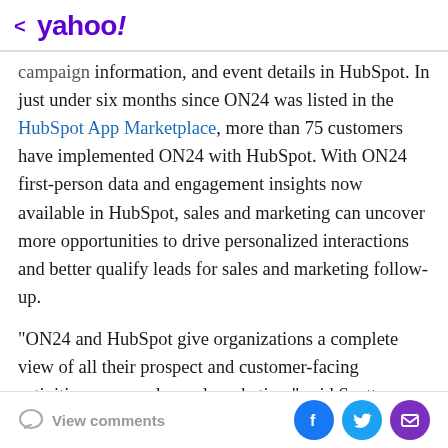< yahoo!
campaign information, and event details in HubSpot. In just under six months since ON24 was listed in the HubSpot App Marketplace, more than 75 customers have implemented ON24 with HubSpot. With ON24 first-person data and engagement insights now available in HubSpot, sales and marketing can uncover more opportunities to drive personalized interactions and better qualify leads for sales and marketing follow-up.
"ON24 and HubSpot give organizations a complete view of all their prospect and customer-facing activities across sales and marketing," said Scott Brinker, VP of platform ecosystem at HubSpot. "Customers can link their ON24 engagement and conversion data to contacts in HubSpot
View comments